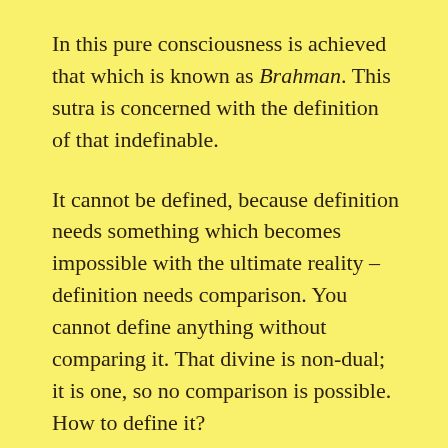In this pure consciousness is achieved that which is known as Brahman. This sutra is concerned with the definition of that indefinable.
It cannot be defined, because definition needs something which becomes impossible with the ultimate reality – definition needs comparison. You cannot define anything without comparing it. That divine is non-dual; it is one, so no comparison is possible. How to define it?
Can you say that the divine is man, or woman? You cannot say, though many religions have defined it in that way. Some religions are man-oriented, so they define God as father. Some